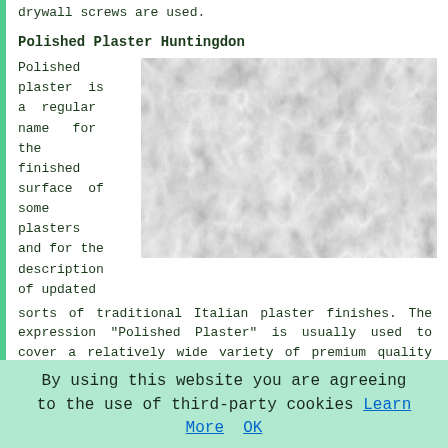drywall screws are used.
Polished Plaster Huntingdon
Polished plaster is a regular name for the finished surface of some plasters and for the description of updated sorts of traditional Italian plaster finishes. The expression "Polished Plaster" is usually used to cover a relatively wide variety of premium quality plaster finishes, from more rugged looking textured plasters to very highly polished Marmorino, Lucidato and Venetian plasters. This technique is mostly used internally, on ceilings and walls, to provide a finish that appears like
[Figure (photo): Close-up photograph of polished plaster surface texture, showing a grey marbled finish with swirling patterns]
By using this website you are agreeing to the use of third-party cookies Learn More OK